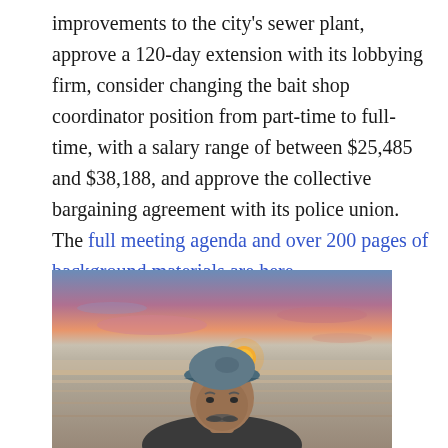improvements to the city's sewer plant, approve a 120-day extension with its lobbying firm, consider changing the bait shop coordinator position from part-time to full-time, with a salary range of between $25,485 and $38,188, and approve the collective bargaining agreement with its police union. The full meeting agenda and over 200 pages of background materials are here.
[Figure (photo): Photograph of an older man with a mustache wearing a blue baseball cap, standing outdoors against a sunset background over water with pink and orange sky.]